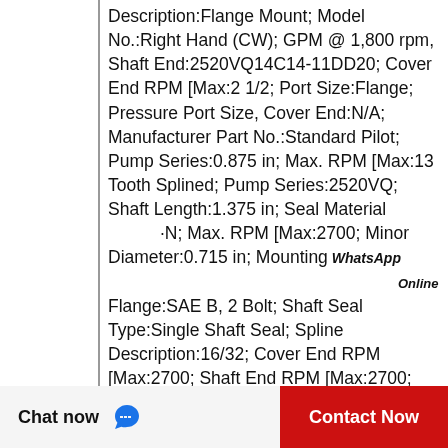Description:Flange Mount; Model No.:Right Hand (CW); GPM @ 1,800 rpm, Shaft End:2520VQ14C14-11DD20; Cover End RPM [Max:2 1/2; Port Size:Flange; Pressure Port Size, Cover End:N/A; Manufacturer Part No.:Standard Pilot; Pump Series:0.875 in; Max. RPM [Max:13 Tooth Splined; Pump Series:2520VQ; Shaft Length:1.375 in; Seal Material [N; Max. RPM [Max:2700; Minor Diameter:0.715 in; Mounting Flange:SAE B, 2 Bolt; Shaft Seal Type:Single Shaft Seal; Spline Description:16/32; Cover End RPM [Max:2700; Shaft End RPM [Max:2700; Controlled Flow Rate:N/A; Cover End Flow @ RPM:14 gal/min @ 1200 rpm, 21 gal/min @ 1800 rpm; Major Diameter
[Figure (other): WhatsApp Online chat badge - green circle with phone icon, text 'WhatsApp Online']
[Figure (other): Bottom popup overlay with X close button, TOKYO brand in blue, ellipsis dots, and partial part number '2-38-125-19-' in blue]
[Figure (other): Bottom action bar with 'Chat now' button (white/gray background, chat icon) and 'Contact Now' button (red background, white text)]